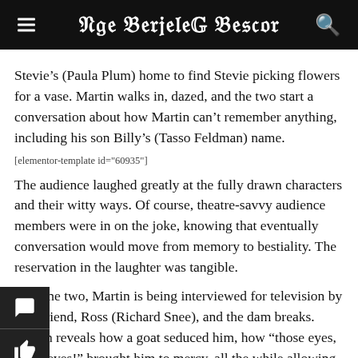The Berkeley Beacon
Stevie’s (Paula Plum) home to find Stevie picking flowers for a vase. Martin walks in, dazed, and the two start a conversation about how Martin can’t remember anything, including his son Billy’s (Tasso Feldman) name.
[elementor-template id="60935"]
The audience laughed greatly at the fully drawn characters and their witty ways. Of course, theatre-savvy audience members were in on the joke, knowing that eventually conversation would move from memory to bestiality. The reservation in the laughter was tangible.
In scene two, Martin is being interviewed for television by best friend, Ross (Richard Snee), and the dam breaks. Martin reveals how a goat seduced him, how “those eyes, those eyes!” brought him to mercy, all the while allowing